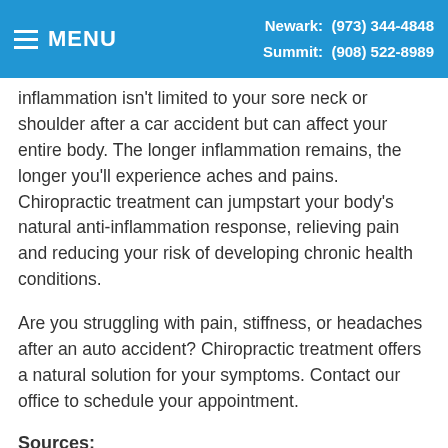MENU | Newark: (973) 344-4848 | Summit: (908) 522-8989
inflammation isn't limited to your sore neck or shoulder after a car accident but can affect your entire body. The longer inflammation remains, the longer you'll experience aches and pains. Chiropractic treatment can jumpstart your body's natural anti-inflammation response, relieving pain and reducing your risk of developing chronic health conditions.
Are you struggling with pain, stiffness, or headaches after an auto accident? Chiropractic treatment offers a natural solution for your symptoms. Contact our office to schedule your appointment.
Sources: